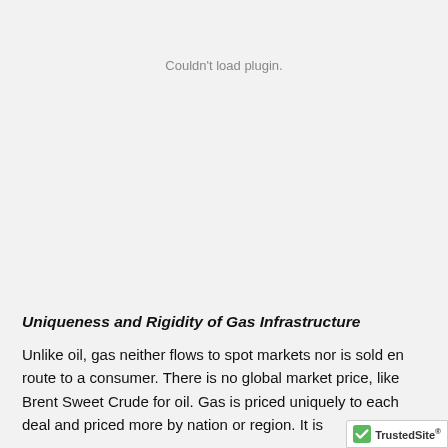Couldn't load plugin.
Uniqueness and Rigidity of Gas Infrastructure
Unlike oil, gas neither flows to spot markets nor is sold en route to a consumer. There is no global market price, like Brent Sweet Crude for oil. Gas is priced uniquely to each deal and priced more by nation or region. It is